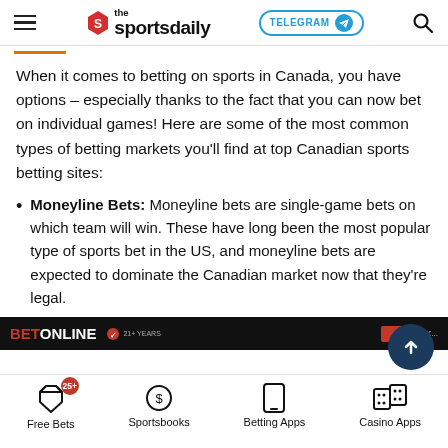the sportsdaily | TELEGRAM | Search
When it comes to betting on sports in Canada, you have options – especially thanks to the fact that you can now bet on individual games! Here are some of the most common types of betting markets you'll find at top Canadian sports betting sites:
Moneyline Bets: Moneyline bets are single-game bets on which team will win. These have long been the most popular type of sports bet in the US, and moneyline bets are expected to dominate the Canadian market now that they're legal.
[Figure (screenshot): BetOnline banner advertisement]
Free Bets | Sportsbooks | Betting Apps | Casino Apps